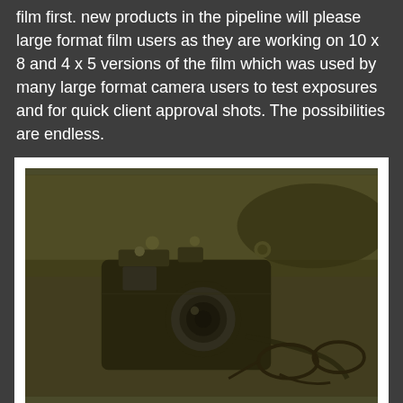film first. new products in the pipeline will please large format film users as they are working on 10 x 8 and 4 x 5 versions of the film which was used by many large format camera users to test exposures and for quick client approval shots. The possibilities are endless.
[Figure (photo): A sepia-toned Polaroid-style photograph showing a vintage film camera with a round lens, lying on a surface next to a pair of glasses. The photo has a white border/frame around it, characteristic of instant film prints.]